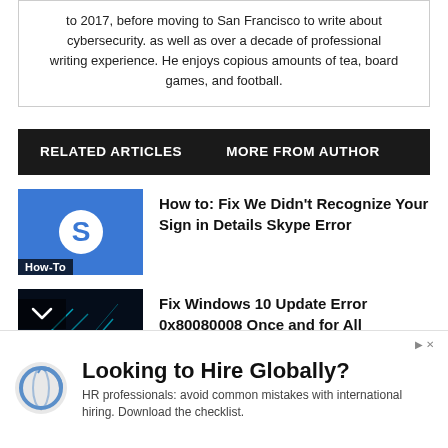to 2017, before moving to San Francisco to write about cybersecurity. as well as over a decade of professional writing experience. He enjoys copious amounts of tea, board games, and football.
RELATED ARTICLES   MORE FROM AUTHOR
How to: Fix We Didn't Recognize Your Sign in Details Skype Error
Fix Windows 10 Update Error 0x80080008 Once and for All
Looking to Hire Globally?
HR professionals: avoid common mistakes with international hiring. Download the checklist.